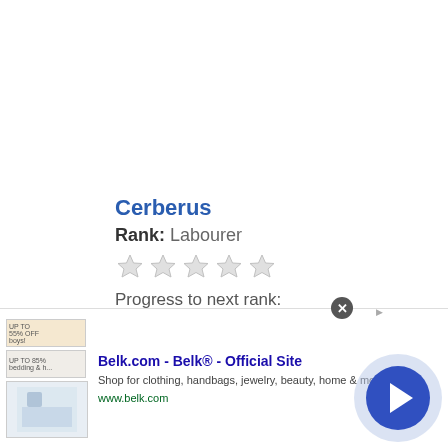Cerberus
Rank: Labourer
[Figure (other): Five empty/unfilled star rating icons]
Progress to next rank:
0%
Posts: 1
Joined: Mon Jan 05, 2009 11:10 am
[Figure (other): Scroll to top circular button icon]
Belk.com - Belk® - Official Site
Shop for clothing, handbags, jewelry, beauty, home & more!
www.belk.com